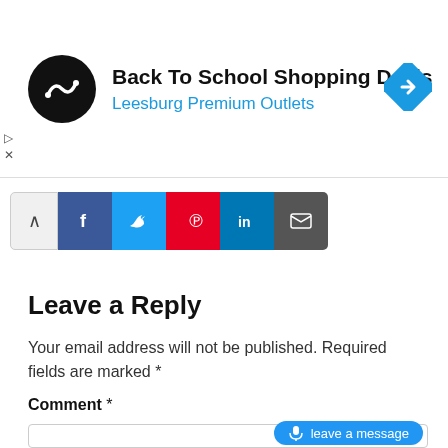[Figure (screenshot): Advertisement banner for Back To School Shopping Deals at Leesburg Premium Outlets, with circular black logo and blue diamond navigation icon]
[Figure (screenshot): Social share bar with collapse toggle, Facebook, Twitter, Pinterest, LinkedIn, and Email buttons]
Leave a Reply
Your email address will not be published. Required fields are marked *
Comment *
[Figure (screenshot): Comment text area input field with blue 'leave a message' voice button overlay]